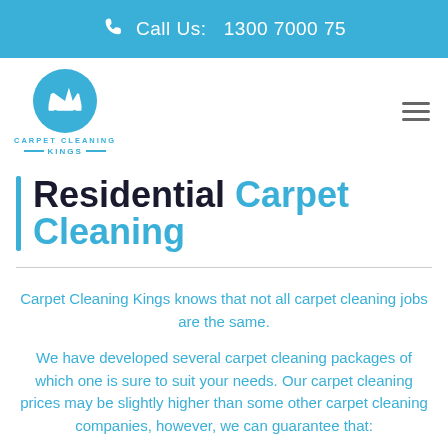Call Us: 1300 7000 75
[Figure (logo): Carpet Cleaning Kings logo — blue circle with crown icon, text 'CARPET CLEANING KINGS']
Residential Carpet Cleaning
Carpet Cleaning Kings knows that not all carpet cleaning jobs are the same.
We have developed several carpet cleaning packages of which one is sure to suit your needs. Our carpet cleaning prices may be slightly higher than some other carpet cleaning companies, however, we can guarantee that: